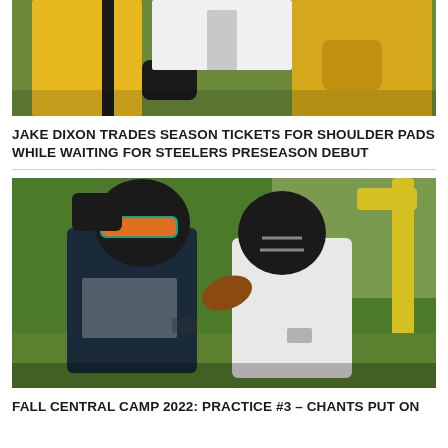[Figure (photo): Football players in gold uniforms in a blocking drill at practice]
JAKE DIXON TRADES SEASON TICKETS FOR SHOULDER PADS WHILE WAITING FOR STEELERS PRESEASON DEBUT
[Figure (photo): Two football players in black helmets and jerseys competing for the ball during fall camp practice. Player #33 in dark jersey vs player in white jersey.]
FALL CENTRAL CAMP 2022: PRACTICE #3 – CHANTS PUT ON